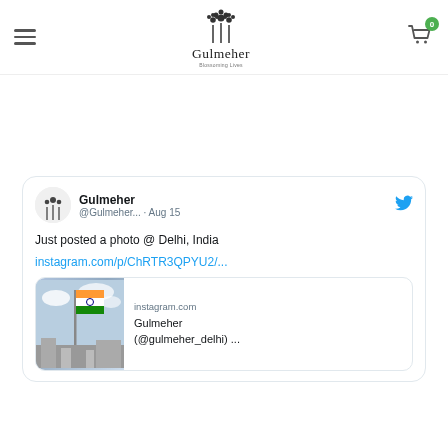Gulmeher — website header with hamburger menu, Gulmeher logo, and cart icon showing 0 items
[Figure (screenshot): Embedded tweet from @Gulmeher posted on Aug 15 saying 'Just posted a photo @ Delhi, India' with link instagram.com/p/ChRTR3QPYU2/... and an Instagram preview card showing an Indian flag photo, instagram.com domain, title 'Gulmeher (@gulmeher_delhi) ...']